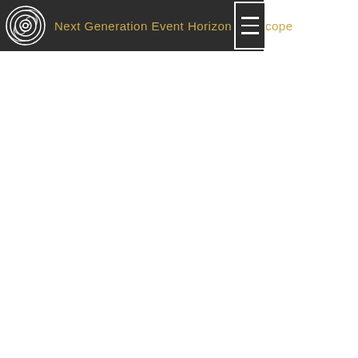Next Generation Event Horizon Telescope